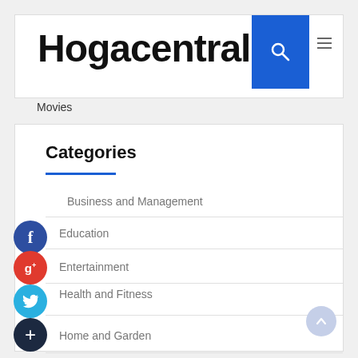Hogacentral
Movies
Categories
Business and Management
Education
Entertainment
Health and Fitness
Home and Garden